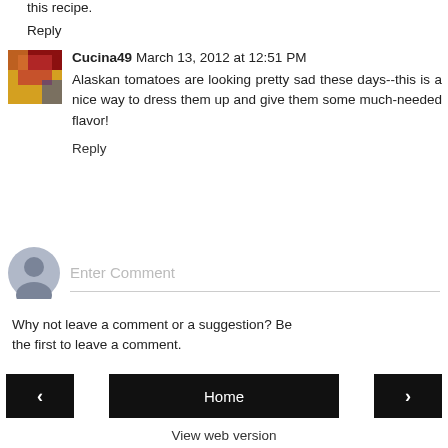this recipe.
Reply
Cucina49  March 13, 2012 at 12:51 PM
Alaskan tomatoes are looking pretty sad these days--this is a nice way to dress them up and give them some much-needed flavor!
Reply
Enter Comment
Why not leave a comment or a suggestion? Be the first to leave a comment.
Home
View web version